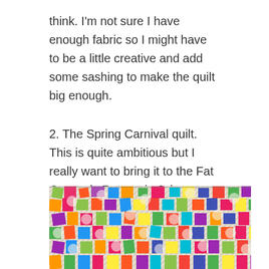think. I'm not sure I have enough fabric so I might have to be a little creative and add some sashing to make the quilt big enough.
2. The Spring Carnival quilt. This is quite ambitious but I really want to bring it to the Fat Quarterly Retreat in July.
[Figure (photo): A colorful patchwork quilt with hexagonal and square fabric pieces in various bright colors including red, pink, yellow, green, teal, blue, and purple arranged in a floral/ring pattern on a striped background.]